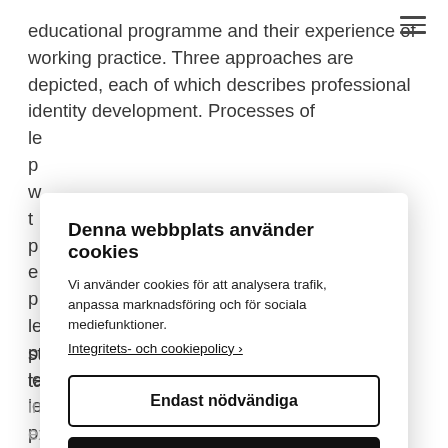educational programme and their experience of working practice. Three approaches are depicted, each of which describes professional identity development. Processes of le p w t p e p le p le le p
study makes clear that novice principals in taking the step into principalship are often deprived of their expertise. If
[Figure (screenshot): Cookie consent modal overlay with title 'Denna webbplats använder cookies', description text, link 'Integritets- och cookiepolicy ›', button 'Endast nödvändiga' (white/outlined), button 'Tillåt alla cookies' (black), and link 'Justera inställningar ›']